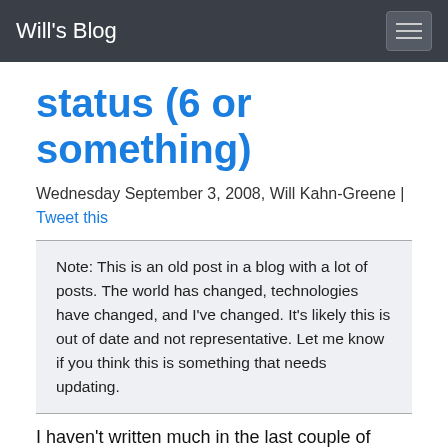Will's Blog
status (6 or something)
Wednesday September 3, 2008, Will Kahn-Greene | Tweet this
Note: This is an old post in a blog with a lot of posts. The world has changed, technologies have changed, and I've changed. It's likely this is out of date and not representative. Let me know if you think this is something that needs updating.
I haven't written much in the last couple of weeks because I was on vacation. On the first day of vacation, I went to the beach and got knocked over by a wave, somersaulted for a while, jammed my shoulder somehow, skinned my